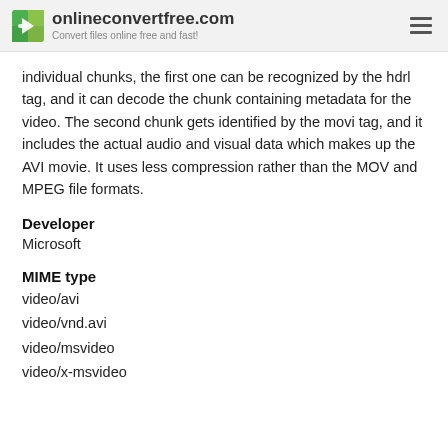onlineconvertfree.com — Convert files online free and fast!
individual chunks, the first one can be recognized by the hdrl tag, and it can decode the chunk containing metadata for the video. The second chunk gets identified by the movi tag, and it includes the actual audio and visual data which makes up the AVI movie. It uses less compression rather than the MOV and MPEG file formats.
Developer
Microsoft
MIME type
video/avi
video/vnd.avi
video/msvideo
video/x-msvideo